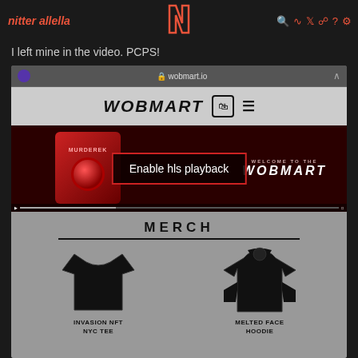nitter allella
I left mine in the video. PCPS!
[Figure (screenshot): Screenshot of wobmart.io website showing WOBMART logo header, a dark red video banner with 'WELCOME TO THE WOBMART' text, and a MERCH section showing INVASION NFT NYC TEE and MELTED FACE HOODIE products. An 'Enable hls playback' overlay message appears over the video section.]